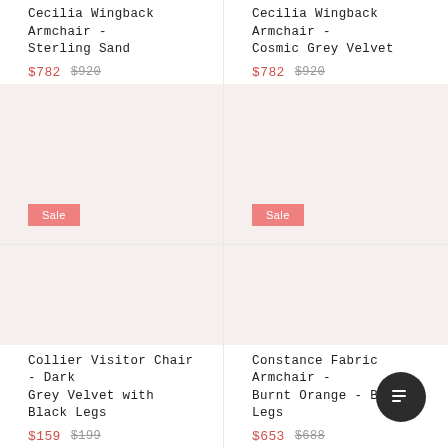Cecilia Wingback Armchair - Sterling Sand
$782  $920
[Figure (photo): Product image area for Cecilia Wingback Armchair - Sterling Sand with Sale badge]
Cecilia Wingback Armchair - Cosmic Grey Velvet
$782  $920
[Figure (photo): Product image area for Cecilia Wingback Armchair - Cosmic Grey Velvet with Sale badge]
Collier Visitor Chair - Dark Grey Velvet with Black Legs
$159  $199
Constance Fabric Armchair - Burnt Orange - Black Legs
$653  $688